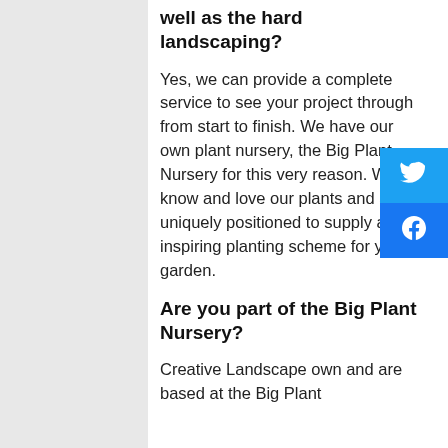well as the hard landscaping?
Yes, we can provide a complete service to see your project through from start to finish. We have our own plant nursery, the Big Plant Nursery for this very reason. We all know and love our plants and are uniquely positioned to supply an inspiring planting scheme for your garden.
Are you part of the Big Plant Nursery?
Creative Landscape own and are based at the Big Plant